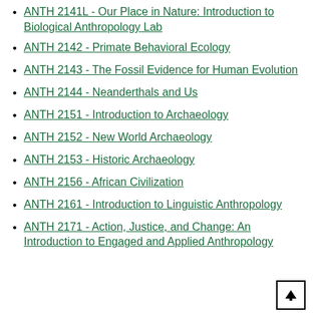ANTH 2141L - Our Place in Nature: Introduction to Biological Anthropology Lab
ANTH 2142 - Primate Behavioral Ecology
ANTH 2143 - The Fossil Evidence for Human Evolution
ANTH 2144 - Neanderthals and Us
ANTH 2151 - Introduction to Archaeology
ANTH 2152 - New World Archaeology
ANTH 2153 - Historic Archaeology
ANTH 2156 - African Civilization
ANTH 2161 - Introduction to Linguistic Anthropology
ANTH 2171 - Action, Justice, and Change: An Introduction to Engaged and Applied Anthropology